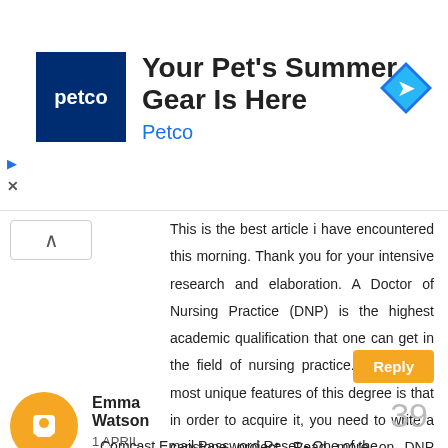[Figure (other): Petco advertisement banner with Petco logo (dark blue square with white 'petco' text), headline 'Your Pet's Summer Gear Is Here', brand name 'Petco' in blue, and a blue diamond-shaped navigation arrow icon on the right.]
This is the best article i have encountered this morning. Thank you for your intensive research and elaboration. A Doctor of Nursing Practice (DNP) is the highest academic qualification that one can get in the field of nursing practice. One of the most unique features of this degree is that in order to acquire it, you need to write a capstone project. Read more on DNP Capstone Project Writing Help .
Reply
Emma Watson
1 APRIL 2021 AT 14:31
Comcast Email Password Reset:- One of the